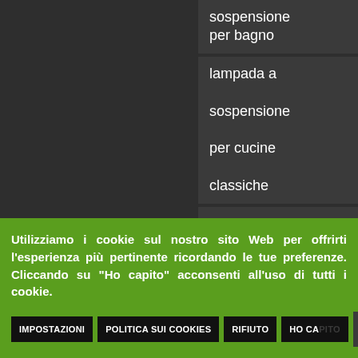sospensione per bagno
lampada a sospensione per cucine classiche
lampada a sospensione
Utilizziamo i cookie sul nostro sito Web per offrirti l'esperienza più pertinente ricordando le tue preferenze. Cliccando su "Ho capito" acconsenti all'uso di tutti i cookie.
IMPOSTAZIONI | POLITICA SUI COOKIES | RIFIUTO | HO CAPITO